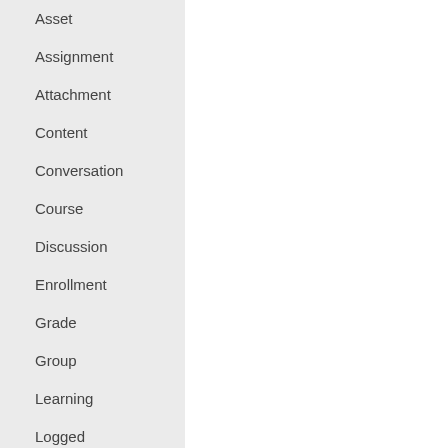Asset
Assignment
Attachment
Content
Conversation
Course
Discussion
Enrollment
Grade
Group
Learning
Logged
Module
Outcome